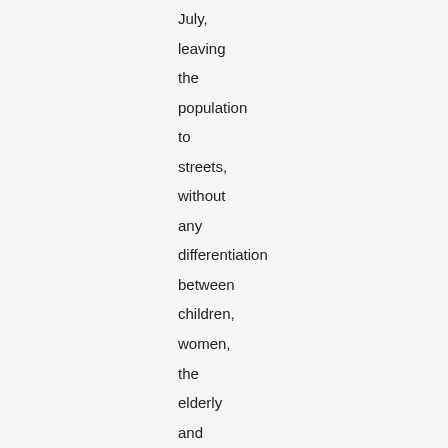July,
leaving
the
population
to
streets,
without
any
differentiation
between
children,
women,
the
elderly
and
even
the
ill.

Tarlabasi,
Fener,
Balat,
Ayvansaray,Yenikapi,Kumkapi,Tozkoparan,
Derbent,